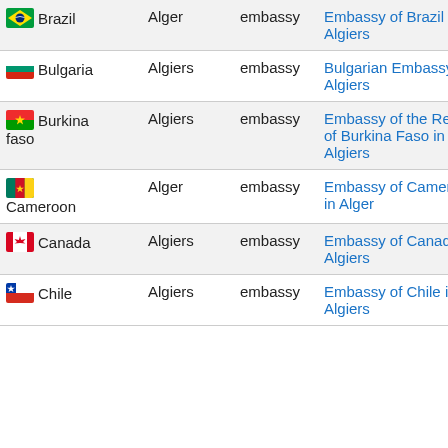| Country | City | Type | Embassy Name |
| --- | --- | --- | --- |
| Brazil | Alger | embassy | Embassy of Brazil in Algiers |
| Bulgaria | Algiers | embassy | Bulgarian Embassy in Algiers |
| Burkina faso | Algiers | embassy | Embassy of the Republic of Burkina Faso in Algiers |
| Cameroon | Alger | embassy | Embassy of Cameroon in Alger |
| Canada | Algiers | embassy | Embassy of Canada in Algiers |
| Chile | Algiers | embassy | Embassy of Chile in Algiers |